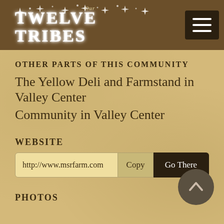Our TWELVE TRIBES
OTHER PARTS OF THIS COMMUNITY
The Yellow Deli and Farmstand in Valley Center
Community in Valley Center
WEBSITE
http://www.msrfarm.com
PHOTOS